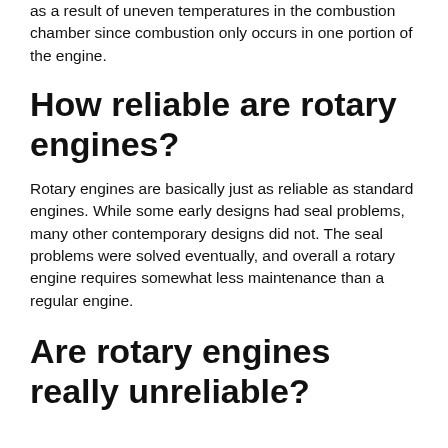as a result of uneven temperatures in the combustion chamber since combustion only occurs in one portion of the engine.
How reliable are rotary engines?
Rotary engines are basically just as reliable as standard engines. While some early designs had seal problems, many other contemporary designs did not. The seal problems were solved eventually, and overall a rotary engine requires somewhat less maintenance than a regular engine.
Are rotary engines really unreliable?